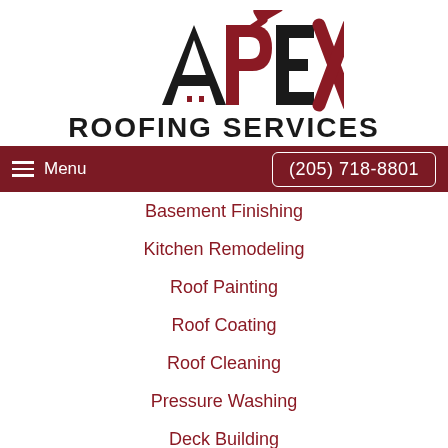[Figure (logo): APEX Roofing Services logo with hammer icon above bold text]
Menu  (205) 718-8801
Basement Finishing
Kitchen Remodeling
Roof Painting
Roof Coating
Roof Cleaning
Pressure Washing
Deck Building
Deck Staining
Wood Rot Repair & Replacement